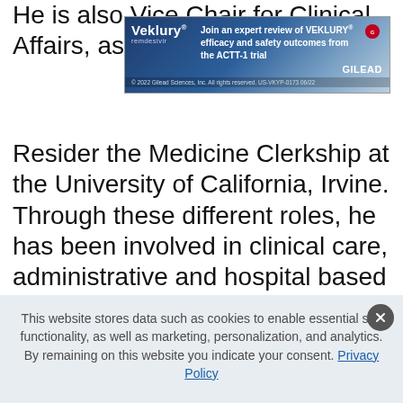He is also Vice Chair for Clinical Affairs, associate program director for the Internal Medicine Residency program, and Clerkship Director for the Medicine Clerkship at the University of California, Irvine. Through these different roles, he has been involved in clinical care, administrative and hospital based committee work, and curriculum development. He has also been involved in developing the Hospitalist/Consultative Curriculum, Palliative & Hospice Care Curriculum, and Business of Medicine Curriculum at UCI.
[Figure (other): Veklury (remdesivir) advertisement banner by Gilead Sciences. Text: 'Join an expert review of VEKLURY efficacy and safety outcomes from the ACTT-1 trial'. Footer: '© 2022 Gilead Sciences, Inc. All rights reserved. US-VKYP-0173 06/22']
1  2  >
This website stores data such as cookies to enable essential site functionality, as well as marketing, personalization, and analytics. By remaining on this website you indicate your consent. Privacy Policy